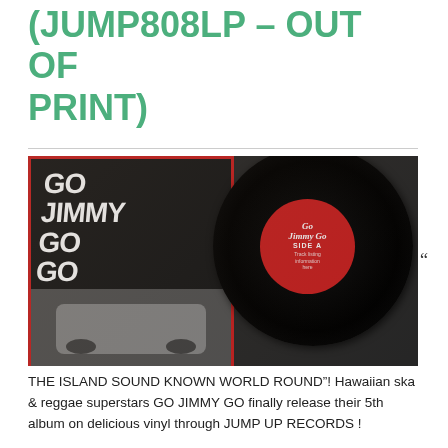(JUMP808LP – OUT OF PRINT)
[Figure (photo): Go Jimmy Go album cover on the left showing bold stylized text 'GO JIMMY GO' repeated multiple times with a car below, and a black vinyl record on the right with a red label reading 'Go Jimmy Go Side A']
THE ISLAND SOUND KNOWN WORLD ROUND"! Hawaiian ska & reggae superstars GO JIMMY GO finally release their 5th album on delicious vinyl through JUMP UP RECORDS !